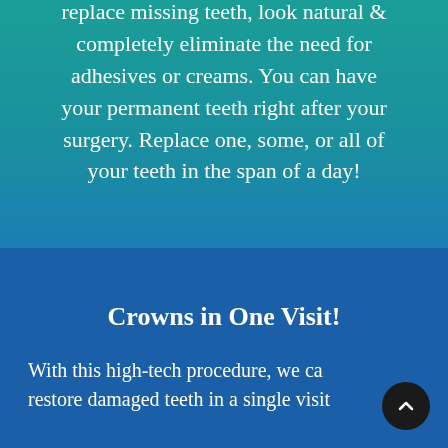replace missing teeth, look natural & completely eliminate the need for adhesives or creams. You can have your permanent teeth right after your surgery. Replace one, some, or all of your teeth in the span of a day!
Crowns in One Visit!
With this high-tech procedure, we ca restore damaged teeth in a single visit